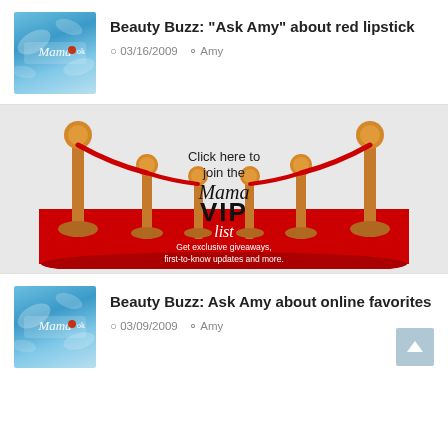[Figure (screenshot): Blog post thumbnail - blue floral background with cursive Mamarock logo]
Beauty Buzz: “Ask Amy” about red lipstick
03/16/2009   Amy
[Figure (illustration): VIP list banner with red carpet, velvet rope stanchions, and text: Click here to join the Mama VIP list. Get exclusive giveaways, first-to-know updates and more.]
[Figure (screenshot): Blog post thumbnail - blue floral background with cursive Mamarock logo]
Beauty Buzz: Ask Amy about online favorites
03/09/2009   Amy